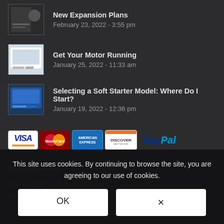New Expansion Plans
February 23, 2022 - 3:55 pm
Get Your Motor Running
January 25, 2022 - 11:33 am
Selecting a Soft Starter Model: Where Do I Start?
January 19, 2022 - 12:36 pm
[Figure (infographic): Payment method icons: Visa, MasterCard, American Express, Discover, PayPal]
QUICKLINKS
Low Voltage Control...
Medium Voltage Co...
This site uses cookies. By continuing to browse the site, you are agreeing to our use of cookies.